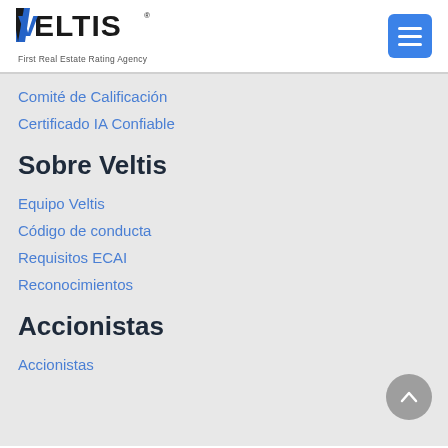[Figure (logo): Veltis logo with text 'First Real Estate Rating Agency']
Comité de Calificación
Certificado IA Confiable
Sobre Veltis
Equipo Veltis
Código de conducta
Requisitos ECAI
Reconocimientos
Accionistas
Accionistas